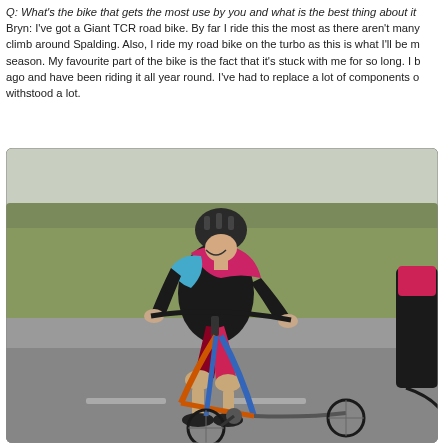Q: What's the bike that gets the most use by you and what is the best thing about it? Bryn: I've got a Giant TCR road bike. By far I ride this the most as there aren't many climb around Spalding. Also, I ride my road bike on the turbo as this is what I'll be m season. My favourite part of the bike is the fact that it's stuck with me for so long. I b ago and have been riding it all year round. I've had to replace a lot of components o withstood a lot.
[Figure (photo): A cyclist wearing a black, pink/magenta, and cyan cycling jersey and helmet, riding a road bike (with orange/blue frame) in an aerodynamic position on a road, with a grassy field background. Another cyclist is partially visible on the right edge.]